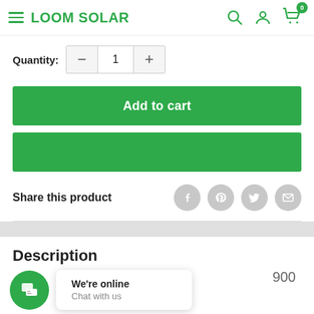LOOM SOLAR
Quantity: 1
Add to cart
Share this product
Description
900
We're online
Chat with us